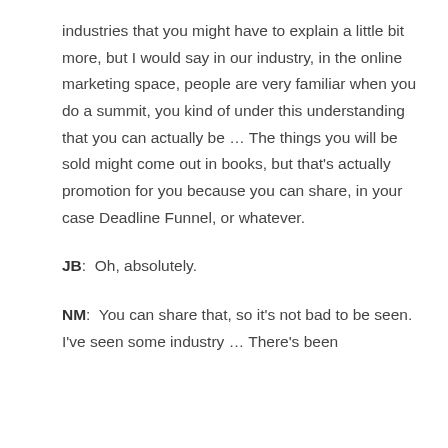industries that you might have to explain a little bit more, but I would say in our industry, in the online marketing space, people are very familiar when you do a summit, you kind of under this understanding that you can actually be … The things you will be sold might come out in books, but that's actually promotion for you because you can share, in your case Deadline Funnel, or whatever.
JB: Oh, absolutely.
NM: You can share that, so it's not bad to be seen. I've seen some industry … There's been